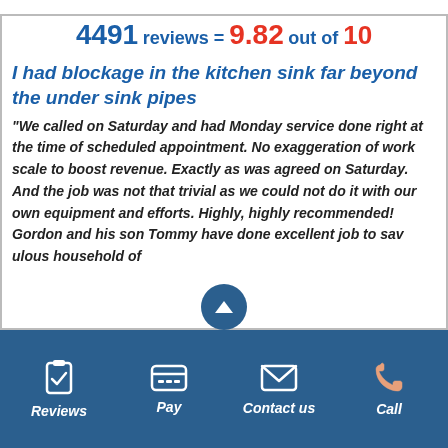4491 reviews = 9.82 out of 10
I had blockage in the kitchen sink far beyond the under sink pipes
“We called on Saturday and had Monday service done right at the time of scheduled appointment. No exaggeration of work scale to boost revenue. Exactly as was agreed on Saturday. And the job was not that trivial as we could not do it with our own equipment and efforts. Highly, highly recommended! Gordon and his son Tommy have done excellent job to sav…ulous household of
Reviews | Pay | Contact us | Call